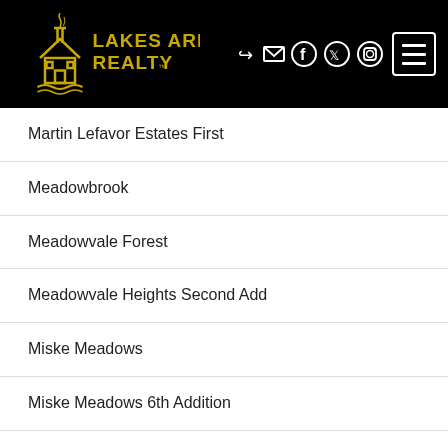Lakes Area Realty
Martin Lefavor Estates First
Meadowbrook
Meadowvale Forest
Meadowvale Heights Second Add
Miske Meadows
Miske Meadows 6th Addition
Miske Meadows Fifth Add
Miske Meadows Second Add